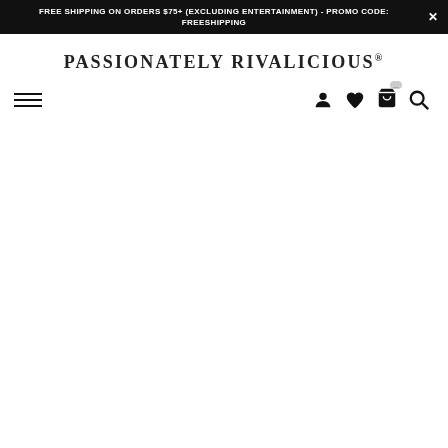FREE SHIPPING ON ORDERS $75+ (EXCLUDING ENTERTAINMENT) - PROMO CODE: FREESHIPPING
PASSIONATELY RIVALICIOUS®
[Figure (screenshot): Navigation bar with hamburger menu on the left, and icons (user, heart/wishlist, shopping cart, search) on the right]
[Figure (other): Large empty white content area below the navigation bar]